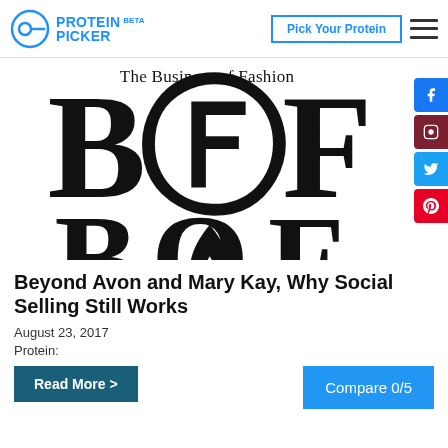PROTEIN PICKER BETA — Pick Your Protein
[Figure (logo): Business of Fashion (BoF) logo — large serif 'BOF' letters with decorative elements, topped with text 'The Business of Fashion']
Beyond Avon and Mary Kay, Why Social Selling Still Works
August 23, 2017
Protein:
Compare 0/5
Read More >